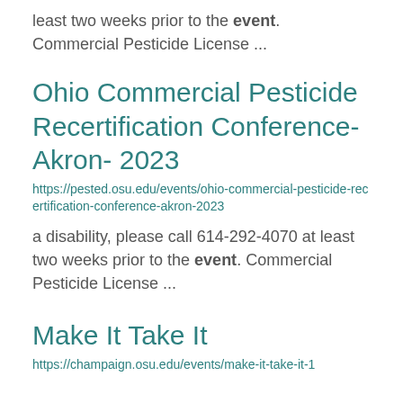least two weeks prior to the event. Commercial Pesticide License ...
Ohio Commercial Pesticide Recertification Conference- Akron- 2023
https://pested.osu.edu/events/ohio-commercial-pesticide-recertification-conference-akron-2023
a disability, please call 614-292-4070 at least two weeks prior to the event. Commercial Pesticide License ...
Make It Take It
https://champaign.osu.edu/events/make-it-take-it-1